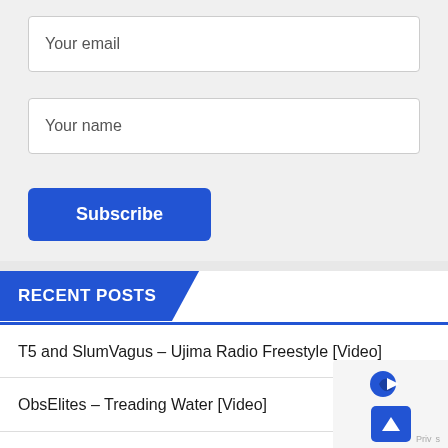Your email
Your name
Subscribe
RECENT POSTS
T5 and SlumVagus – Ujima Radio Freestyle [Video]
ObsElites – Treading Water [Video]
The Scribes X Risk1 – The Shipwreck [Video]